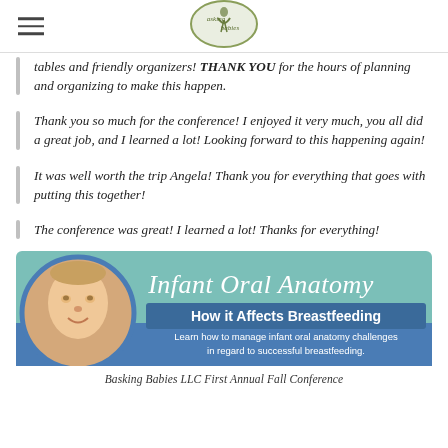[Figure (logo): Asking Babies logo - oval shaped with a figure and text 'asking babies']
tables and friendly organizers! THANK YOU for the hours of planning and organizing to make this happen.
Thank you so much for the conference! I enjoyed it very much, you all did a great job, and I learned a lot! Looking forward to this happening again!
It was well worth the trip Angela! Thank you for everything that goes with putting this together!
The conference was great! I learned a lot! Thanks for everything!
[Figure (illustration): Infant Oral Anatomy - How it Affects Breastfeeding promotional banner with baby photo and teal/blue background. Text: 'Learn how to manage infant oral anatomy challenges in regard to successful breastfeeding.']
Basking Babies LLC First Annual Fall Conference